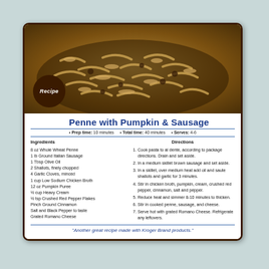[Figure (photo): A photo of penne pasta with pumpkin and sausage served in a dark bowl]
Penne with Pumpkin & Sausage
Prep time: 10 minutes • Total time: 40 minutes • Serves: 4-6
Ingredients
8 oz Whole Wheat Penne
1 lb Ground Italian Sausage
1 Tbsp Olive Oil
2 Shallots, finely chopped
4 Garlic Cloves, minced
1 cup Low Sodium Chicken Broth
12 oz Pumpkin Puree
½ cup Heavy Cream
½ tsp Crushed Red Pepper Flakes
Pinch Ground Cinnamon
Salt and Black Pepper to taste
Grated Romano Cheese
Directions
Cook pasta to al dente, according to package directions. Drain and set aside.
In a medium skillet brown sausage and set aside.
In a skillet, over medium heat add oil and saute shallots and garlic for 3 minutes.
Stir in chicken broth, pumpkin, cream, crushed red pepper, cinnamon, salt and pepper.
Reduce heat and simmer 8-10 minutes to thicken.
Stir in cooked penne, sausage, and cheese.
Serve hot with grated Romano Cheese. Refrigerate any leftovers.
"Another great recipe made with Kroger Brand products."